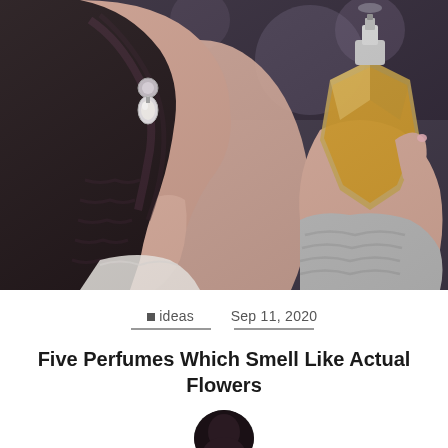[Figure (photo): A woman with dark braided hair and pearl drop earrings holds a perfume bottle up near her neck, about to spray. She is wearing a white lace top and a grey knit sleeve is visible. The perfume bottle is angular and golden/amber colored with a silver spray nozzle. Background is dark blurred.]
□ideas   Sep 11, 2020
Five Perfumes Which Smell Like Actual Flowers
[Figure (photo): Circular avatar/profile photo, partially visible at the bottom of the page, showing a dark-haired person.]